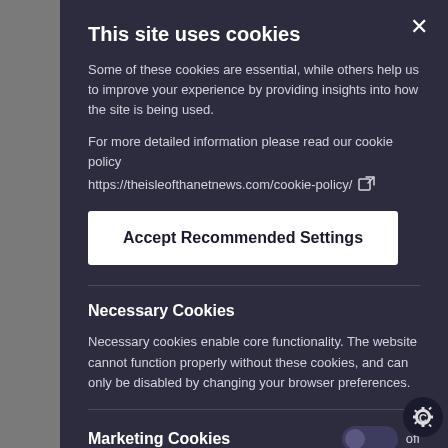This site uses cookies
Some of these cookies are essential, while others help us to improve your experience by providing insights into how the site is being used.
For more detailed information please read our cookie policy
https://theisleofthanetnews.com/cookie-policy/
Accept Recommended Settings
Necessary Cookies
Necessary cookies enable core functionality. The website cannot function properly without these cookies, and can only be disabled by changing your browser preferences.
Marketing Cookies
Marketing cookies are used to track visitors across websi…